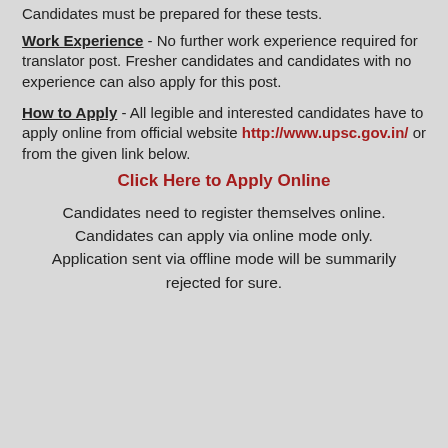Candidates must be prepared for these tests.
Work Experience - No further work experience required for translator post. Fresher candidates and candidates with no experience can also apply for this post.
How to Apply - All legible and interested candidates have to apply online from official website http://www.upsc.gov.in/ or from the given link below.
Click Here to Apply Online
Candidates need to register themselves online. Candidates can apply via online mode only. Application sent via offline mode will be summarily rejected for sure.